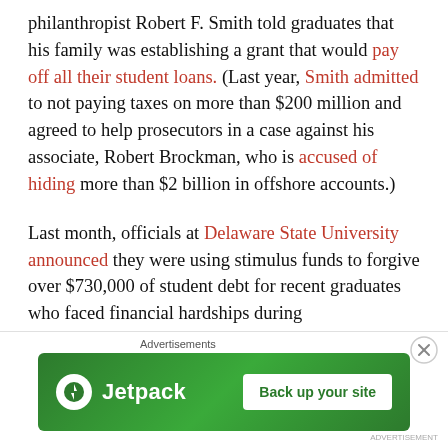philanthropist Robert F. Smith told graduates that his family was establishing a grant that would pay off all their student loans. (Last year, Smith admitted to not paying taxes on more than $200 million and agreed to help prosecutors in a case against his associate, Robert Brockman, who is accused of hiding more than $2 billion in offshore accounts.)
Last month, officials at Delaware State University announced they were using stimulus funds to forgive over $730,000 of student debt for recent graduates who faced financial hardships during the...
Advertisements
[Figure (other): Jetpack advertisement banner with green background showing Jetpack logo and 'Back up your site' button]